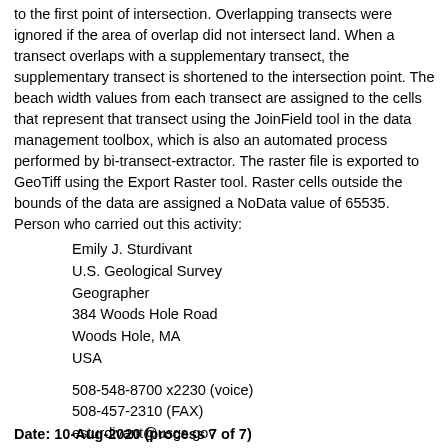to the first point of intersection. Overlapping transects were ignored if the area of overlap did not intersect land. When a transect overlaps with a supplementary transect, the supplementary transect is shortened to the intersection point. The beach width values from each transect are assigned to the cells that represent that transect using the JoinField tool in the data management toolbox, which is also an automated process performed by bi-transect-extractor. The raster file is exported to GeoTiff using the Export Raster tool. Raster cells outside the bounds of the data are assigned a NoData value of 65535. Person who carried out this activity:
Emily J. Sturdivant
U.S. Geological Survey
Geographer
384 Woods Hole Road
Woods Hole, MA
USA

508-548-8700 x2230 (voice)
508-457-2310 (FAX)
esturdivant@usgs.gov
Date: 10-Aug-2020 (process 7 of 7)